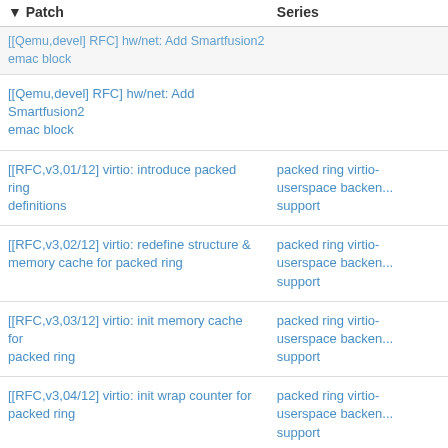| Patch | Series |
| --- | --- |
| [[Qemu,devel] RFC] hw/net: Add Smartfusion2 emac block |  |
| [[Qemu,devel] RFC] hw/net: Add Smartfusion2 emac block |  |
| [[RFC,v3,01/12] virtio: introduce packed ring definitions | packed ring virtio-userspace backend support |
| [[RFC,v3,02/12] virtio: redefine structure & memory cache for packed ring | packed ring virtio-userspace backend support |
| [[RFC,v3,03/12] virtio: init memory cache for packed ring | packed ring virtio-userspace backend support |
| [[RFC,v3,04/12] virtio: init wrap counter for packed ring | packed ring virtio-userspace backend support |
patchwork patch tracking system | version v2.2.6 | about patchwork